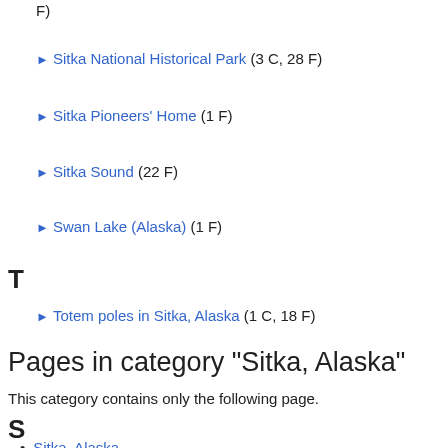F)
Sitka National Historical Park (3 C, 28 F)
Sitka Pioneers' Home (1 F)
Sitka Sound (22 F)
Swan Lake (Alaska) (1 F)
T
Totem poles in Sitka, Alaska (1 C, 18 F)
Pages in category "Sitka, Alaska"
This category contains only the following page.
S
Sitka, Alaska